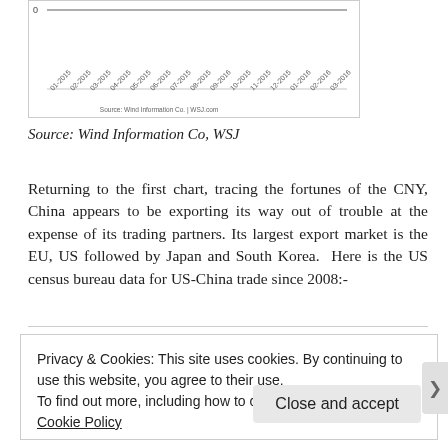[Figure (continuous-plot): Bottom portion of a time-series chart with x-axis date labels from 01-2015 to 03-2016, and a source attribution 'Source: Wind Information Co. | WSJ.com'. The y-axis shows value 0 at the top of the visible area.]
Source: Wind Information Co, WSJ
Returning to the first chart, tracing the fortunes of the CNY, China appears to be exporting its way out of trouble at the expense of its trading partners. Its largest export market is the EU, US followed by Japan and South Korea.  Here is the US census bureau data for US-China trade since 2008:-
Privacy & Cookies: This site uses cookies. By continuing to use this website, you agree to their use.
To find out more, including how to control cookies, see here: Cookie Policy